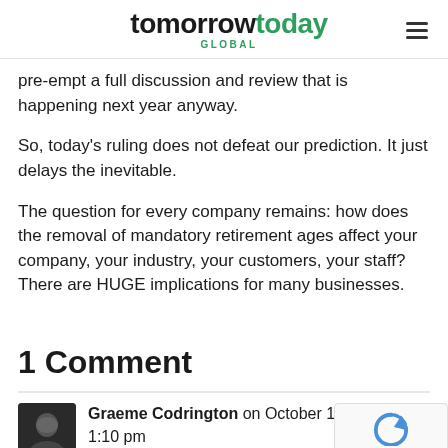tomorrowtoday GLOBAL
pre-empt a full discussion and review that is happening next year anyway.
So, today's ruling does not defeat our prediction. It just delays the inevitable.
The question for every company remains: how does the removal of mandatory retirement ages affect your company, your industry, your customers, your staff? There are HUGE implications for many businesses.
1 Comment
Graeme Codrington on October 1, 2009 1:10 pm